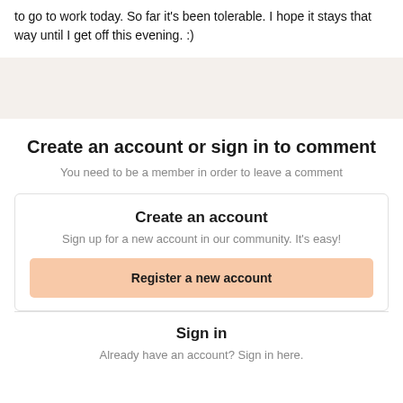to go to work today. So far it's been tolerable. I hope it stays that way until I get off this evening. :)
Create an account or sign in to comment
You need to be a member in order to leave a comment
Create an account
Sign up for a new account in our community. It's easy!
Register a new account
Sign in
Already have an account? Sign in here.